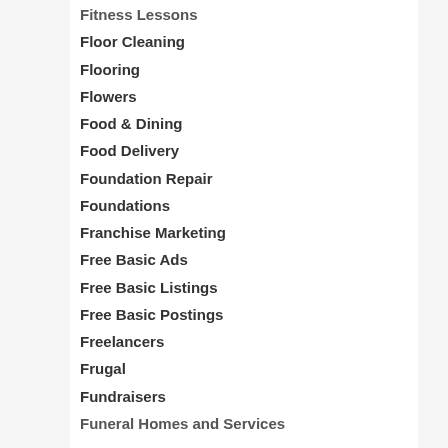Fitness Lessons
Floor Cleaning
Flooring
Flowers
Food & Dining
Food Delivery
Foundation Repair
Foundations
Franchise Marketing
Free Basic Ads
Free Basic Listings
Free Basic Postings
Freelancers
Frugal
Fundraisers
Funeral Homes and Services